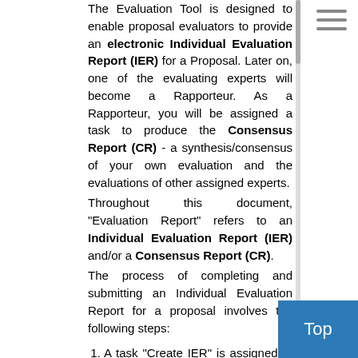The Evaluation Tool is designed to enable proposal evaluators to provide an electronic Individual Evaluation Report (IER) for a Proposal. Later on, one of the evaluating experts will become a Rapporteur. As a Rapporteur, you will be assigned a task to produce the Consensus Report (CR) - a synthesis/consensus of your own evaluation and the evaluations of other assigned experts. Throughout this document, "Evaluation Report" refers to an Individual Evaluation Report (IER) and/or a Consensus Report (CR). The process of completing and submitting an Individual Evaluation Report for a proposal involves the following steps:
A task "Create IER" is assigned to you as a proposal evaluator (expert). Check whether you can evaluate the proposal (i.e., ensure that there is no conflict of interest of any nature).
Accept the "Write IER" task and fill in your evaluation report using an electronic Web-based form.
Submit your evaluation report electronically by ...